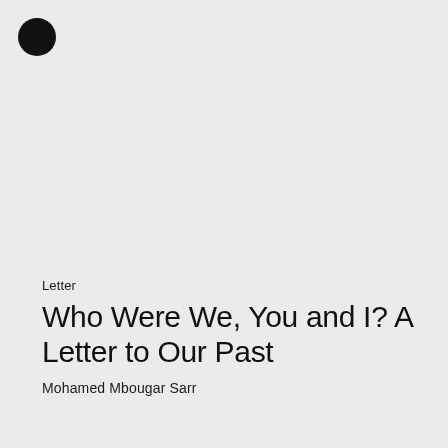[Figure (illustration): Black filled circle in the upper left corner of the page]
Letter
Who Were We, You and I? A Letter to Our Past
Mohamed Mbougar Sarr